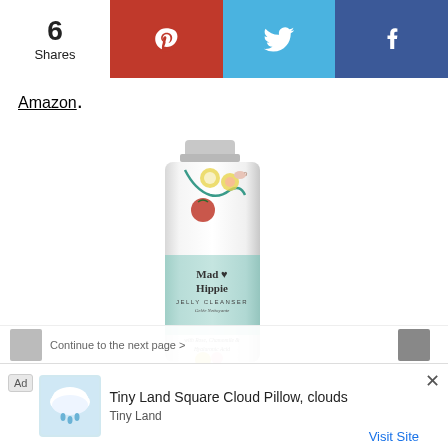6 Shares | Pinterest | Twitter | Facebook
Amazon.
[Figure (photo): Mad Hippie Jelly Cleanser product tube with floral illustration, teal label band, text reads 'Mad Hippie JELLY CLEANSER Gelée Nettoyante with Rose, Chamomile & Hyaluronic Acid']
Ad | Tiny Land Square Cloud Pillow, clouds | Tiny Land | Visit Site